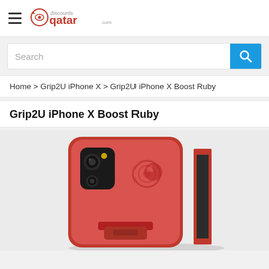discounts qatar (logo with hamburger menu)
Search
Home > Grip2U iPhone X > Grip2U iPhone X Boost Ruby
Grip2U iPhone X Boost Ruby
[Figure (photo): Product photo of a ruby red Grip2U iPhone X Boost case showing the back of the case with camera cutout and a clip/stand accessory attached, alongside the case edge view showing a black interior]